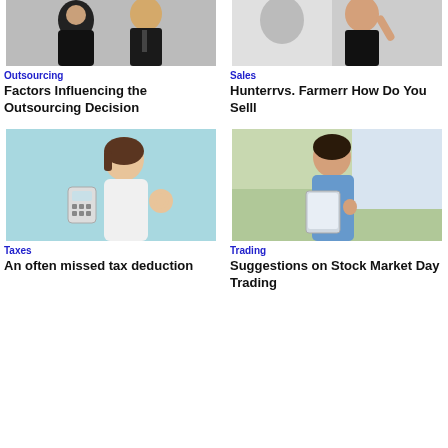[Figure (photo): Two people in business attire, one facing away, one smiling at camera in professional setting]
Outsourcing
Factors Influencing the Outsourcing Decision
[Figure (photo): Woman in business suit smiling and pointing at camera]
Sales
Hunterrvs. Farmerr How Do You Selll
[Figure (photo): Smiling woman holding a calculator and making OK gesture, light blue background]
Taxes
An often missed tax deduction
[Figure (photo): Woman in blue shirt outdoors holding a tablet or clipboard]
Trading
Suggestions on Stock Market Day Trading